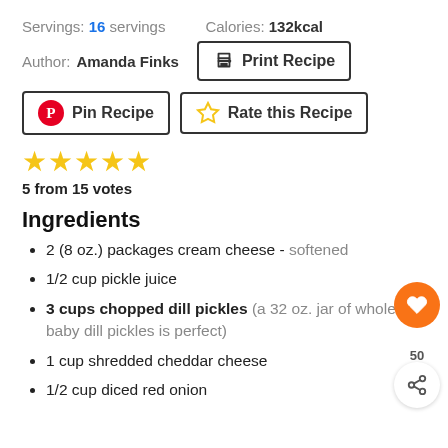Servings: 16 servings   Calories: 132kcal
Author: Amanda Finks
[Figure (other): Print Recipe button with printer icon]
[Figure (other): Pin Recipe button with Pinterest logo]
[Figure (other): Rate this Recipe button with star outline icon]
[Figure (other): 5 yellow stars rating display]
5 from 15 votes
Ingredients
2 (8 oz.) packages cream cheese - softened
1/2 cup pickle juice
3 cups chopped dill pickles (a 32 oz. jar of whole baby dill pickles is perfect)
1 cup shredded cheddar cheese
1/2 cup diced red onion